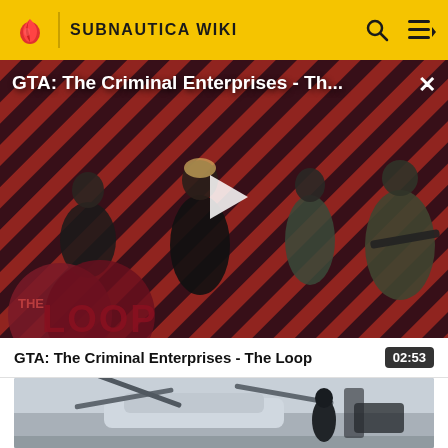SUBNAUTICA WIKI
[Figure (screenshot): Video player showing GTA: The Criminal Enterprises - The Loop with play button overlay, characters on red striped background, THE LOOP logo visible]
GTA: The Criminal Enterprises - Th...
GTA: The Criminal Enterprises - The Loop  02:53
[Figure (screenshot): Second video thumbnail showing a vehicle with helicopter blades and a character in a grey environment]